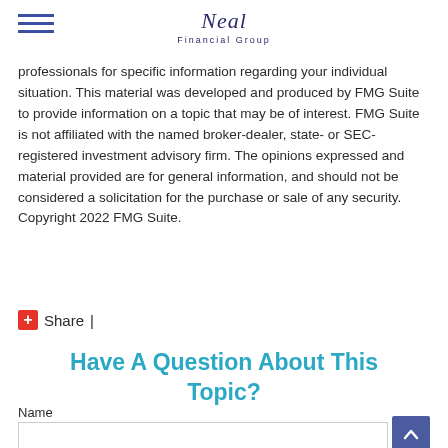Neal Financial Group
professionals for specific information regarding your individual situation. This material was developed and produced by FMG Suite to provide information on a topic that may be of interest. FMG Suite is not affiliated with the named broker-dealer, state- or SEC-registered investment advisory firm. The opinions expressed and material provided are for general information, and should not be considered a solicitation for the purchase or sale of any security. Copyright 2022 FMG Suite.
Share |
Have A Question About This Topic?
Name